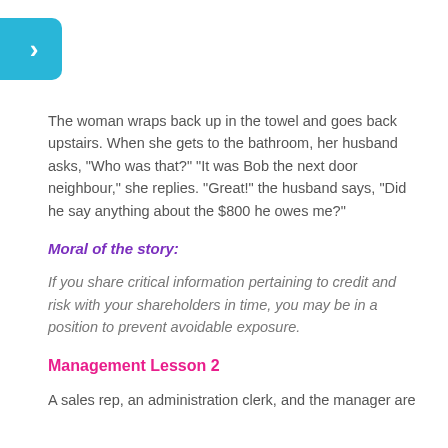[Figure (other): Cyan/teal navigation arrow button on left edge]
The woman wraps back up in the towel and goes back upstairs. When she gets to the bathroom, her husband asks, "Who was that?" "It was Bob the next door neighbour," she replies. "Great!" the husband says, "Did he say anything about the $800 he owes me?"
Moral of the story:
If you share critical information pertaining to credit and risk with your shareholders in time, you may be in a position to prevent avoidable exposure.
Management Lesson 2
A sales rep, an administration clerk, and the manager are